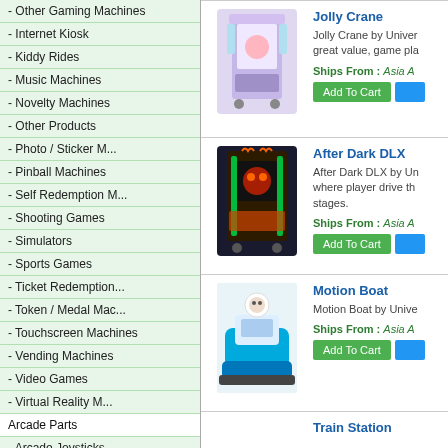- Other Gaming Machines
- Internet Kiosk
- Kiddy Rides
- Music Machines
- Novelty Machines
- Other Products
- Photo / Sticker M...
- Pinball Machines
- Self Redemption M...
- Shooting Games
- Simulators
- Sports Games
- Ticket Redemption...
- Token / Medal Mac...
- Touchscreen Machines
- Vending Machines
- Video Games
- Virtual Reality M...
Arcade Parts
- Arcade Joysticks
- Ball Tops
- Arcade Machine Parts
- Arcade Speakers
- Arcade Stools
- Artwork
[Figure (photo): Jolly Crane arcade machine photo]
Jolly Crane
Jolly Crane by Univer great value, game pla
Ships From : Asia A
[Figure (photo): After Dark DLX arcade machine photo]
After Dark DLX
After Dark DLX by Un where player drive th stages.
Ships From : Asia A
[Figure (photo): Motion Boat kiddy ride photo]
Motion Boat
Motion Boat by Unive
Ships From : Asia A
Train Station